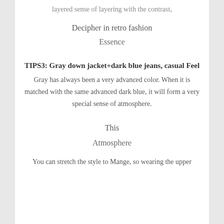layered sense of layering with the contrast,
Decipher in retro fashion
Essence
TIPS3: Gray down jacket+dark blue jeans, casual Feel
Gray has always been a very advanced color. When it is matched with the same advanced dark blue, it will form a very special sense of atmosphere.
This
Atmosphere
You can stretch the style to Mange, so wearing the upper